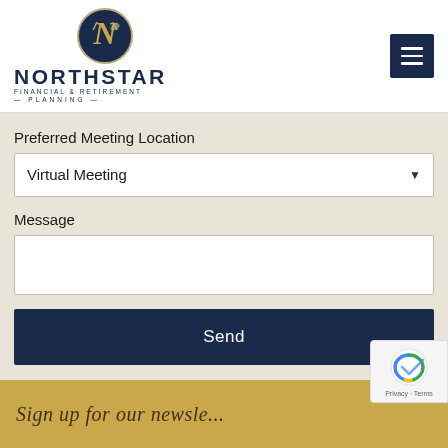[Figure (logo): Northstar Financial & Retirement Planning logo with circular emblem containing N and a star/leaf motif in dark teal/gold, with company name in navy blue uppercase letters below]
Preferred Meeting Location
Virtual Meeting
Message
Send
Sign up for our newsle...